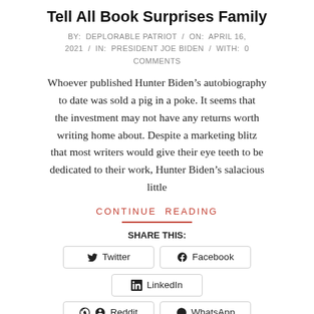Tell All Book Surprises Family
BY: DEPLORABLE PATRIOT / ON: APRIL 16, 2021 / IN: PRESIDENT JOE BIDEN / WITH: 0 COMMENTS
Whoever published Hunter Biden’s autobiography to date was sold a pig in a poke. It seems that the investment may not have any returns worth writing home about. Despite a marketing blitz that most writers would give their eye teeth to be dedicated to their work, Hunter Biden’s salacious little
CONTINUE READING
SHARE THIS:
Twitter  Facebook  LinkedIn  Reddit  WhatsApp  Print